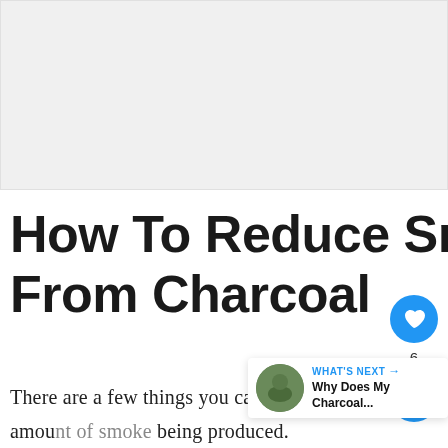[Figure (photo): A large image placeholder at the top of the page, light gray background representing an article header image.]
How To Reduce Smoke From Charcoal
There are a few things you can adjust during the charcoal lighting stage to reduce the amou[nt of smoke] being produced.